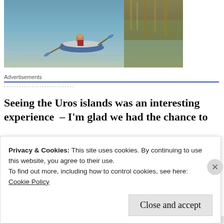[Figure (photo): A person rowing a small blue boat on calm water with reeds/grass visible on the right bank]
Advertisements
Seeing the Uros islands was an interesting experience  – I'm glad we had the chance to
Privacy & Cookies: This site uses cookies. By continuing to use this website, you agree to their use.
To find out more, including how to control cookies, see here:
Cookie Policy
Close and accept